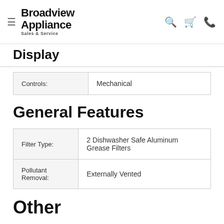Broadview Appliance Sales & Service
Display
| Controls: | Mechanical |
General Features
| Filter Type: | 2 Dishwasher Safe Aluminum Grease Filters |
| Pollutant Removal: | Externally Vented |
Other